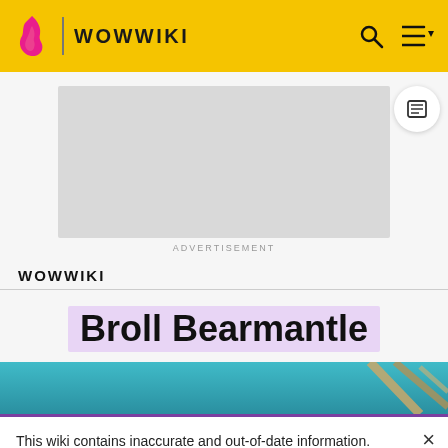WOWWIKI
[Figure (screenshot): Advertisement placeholder (gray rectangle)]
ADVERTISEMENT
WOWWIKI
Broll Bearmantle
[Figure (photo): Partial teal/blue game scene with wooden sticks/staffs]
This wiki contains inaccurate and out-of-date information. Please head over to https://wowpedia.fandom.com for more accurate and up-to-date game information.